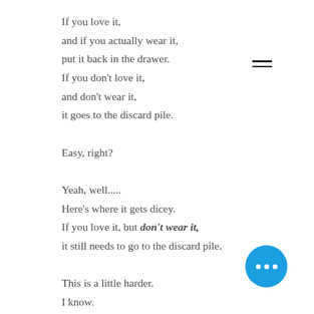If you love it,
and if you actually wear it,
put it back in the drawer.
If you don't love it,
and don't wear it,
it goes to the discard pile.

Easy, right?

Yeah, well.....
Here's where it gets dicey.
If you love it, but don't wear it,
it still needs to go to the discard pile.

This is a little harder.
I know.

It's hard to get rid of things you lo…
or think you love.